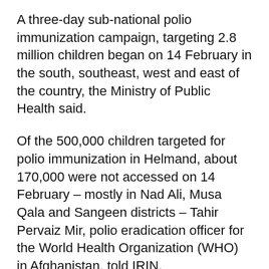A three-day sub-national polio immunization campaign, targeting 2.8 million children began on 14 February in the south, southeast, west and east of the country, the Ministry of Public Health said.
Of the 500,000 children targeted for polio immunization in Helmand, about 170,000 were not accessed on 14 February – mostly in Nad Ali, Musa Qala and Sangeen districts – Tahir Pervaiz Mir, polio eradication officer for the World Health Organization (WHO) in Afghanistan, told IRIN.
“Polio immunization would not be conducted in Nad Ali and Marjah due to the ongoing conflict there,” Enayatullah Ghafari, provincial director of the health department, told IRIN.